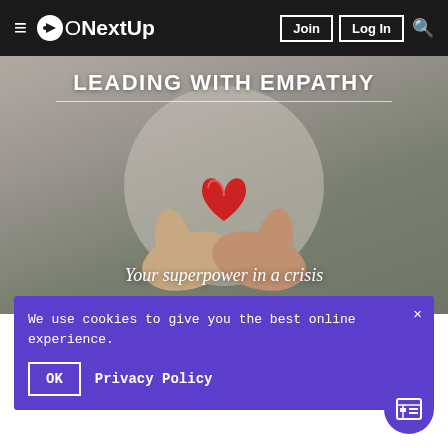≡ ONextUp   Join   Log In   🔍
[Figure (photo): Person holding a red heart shape in their hands, with circular background. Text overlay: LEADING WITH EMPATHY and Your superpower in a crisis]
We use cookies to give you the best online experience.
OK   Privacy Policy
Leading with